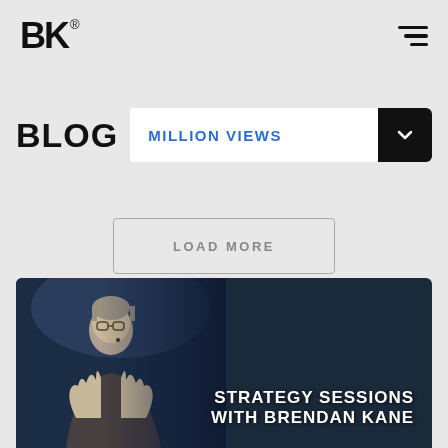[Figure (logo): BK logo with registered trademark symbol in top left]
[Figure (illustration): Hamburger menu icon (three horizontal bars, right-aligned) in top right]
BLOG
MILLION VIEWS
LOAD MORE
[Figure (photo): Man with glasses speaking on stage with text overlay: STRATEGY SESSIONS WITH BRENDAN KANE]